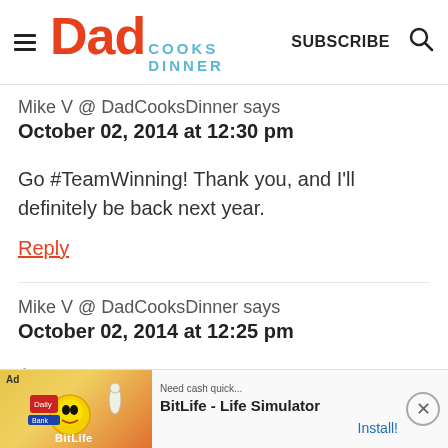Dad Cooks Dinner — SUBSCRIBE
Mike V @ DadCooksDinner says
October 02, 2014 at 12:30 pm
Go #TeamWinning! Thank you, and I'll definitely be back next year.
Reply
Mike V @ DadCooksDinner says
October 02, 2014 at 12:25 pm
As y… thing…
[Figure (advertisement): BitLife - Life Simulator app ad with game screenshot, Ad label, and Install button]